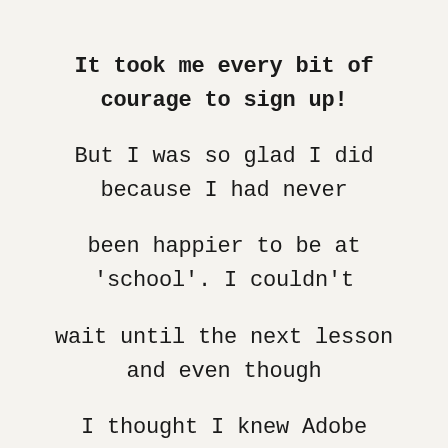It took me every bit of courage to sign up! But I was so glad I did because I had never been happier to be at 'school'. I couldn't wait until the next lesson and even though I thought I knew Adobe Illustrator well, I learned a whole new way of using it. Immersion opened my eyes, heart, and mind. I loved every lesson and every bit of Bonnie's wisdom. It made me feel I could really do this and I even had a job title I